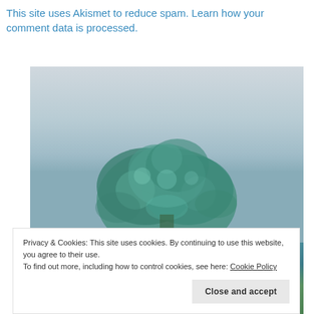This site uses Akismet to reduce spam. Learn how your comment data is processed.
[Figure (photo): A large green tree photographed from below against a light grey sky, with a person in a blue shirt and another person visible at the bottom of the frame.]
Privacy & Cookies: This site uses cookies. By continuing to use this website, you agree to their use. To find out more, including how to control cookies, see here: Cookie Policy